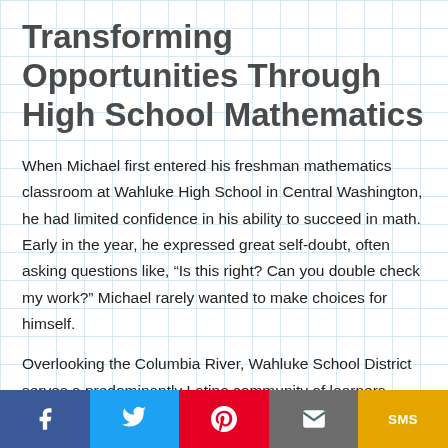Transforming Opportunities Through High School Mathematics
When Michael first entered his freshman mathematics classroom at Wahluke High School in Central Washington, he had limited confidence in his ability to succeed in math. Early in the year, he expressed great self-doubt, often asking questions like, “Is this right? Can you double check my work?” Michael rarely wanted to make choices for himself.
Overlooking the Columbia River, Wahluke School District serves a predominantly Latino community of learners—many of them members of families from Mexico and Guatemala. Half are migrant